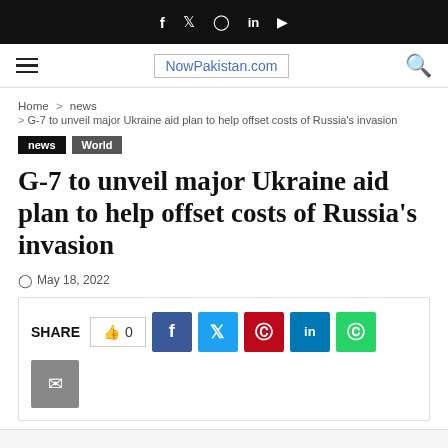f  ✓  ⊙  in  ▶
NowPakistan.com
Home > news > G-7 to unveil major Ukraine aid plan to help offset costs of Russia's invasion
news  World
G-7 to unveil major Ukraine aid plan to help offset costs of Russia's invasion
May 18, 2022
SHARE  0  [social share buttons: Facebook, Twitter, Pinterest, LinkedIn, WhatsApp, Email]